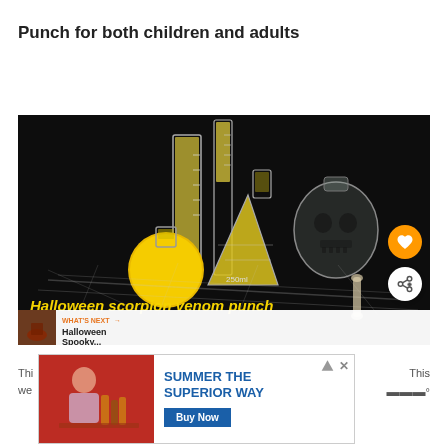Punch for both children and adults
[Figure (photo): Halloween-themed photo showing laboratory glassware including beakers and flasks filled with yellow liquid, a skull-shaped bottle, and decorative netting on a dark background. Text overlay reads 'Halloween scorpion venom punch' in yellow italic font. Includes heart/favorite button (orange circle) and share button (white circle). Bottom bar shows 'WHAT'S NEXT' label with thumbnail and 'Halloween Spooky...' text.]
[Figure (photo): Advertisement banner: left side shows image of person with beverages, right side shows text 'SUMMER THE SUPERIOR WAY' with 'Buy Now' button, plus close/info icons in top right corner.]